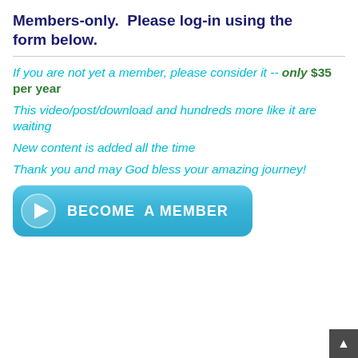Members-only.  Please log-in using the form below.
If you are not yet a member, please consider it -- only $35 per year
This video/post/download and hundreds more like it are waiting
New content is added all the time
Thank you and may God bless your amazing journey!
[Figure (other): Blue rounded button with play icon and text BECOME A MEMBER]